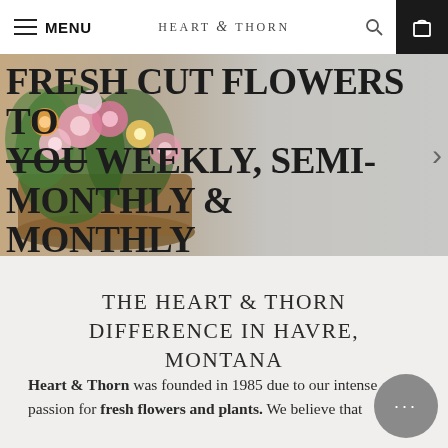MENU | HEART & THORN
[Figure (photo): Hero banner with fresh cut flowers in a wicker basket on left, gray background on right, overlaid with bold serif text: FRESH CUT FLOWERS TO YOU WEEKLY, SEMI-MONTHLY & MONTHLY]
THE HEART & THORN DIFFERENCE IN HAVRE, MONTANA
Heart & Thorn was founded in 1985 due to our intense passion for fresh flowers and plants. We believe that